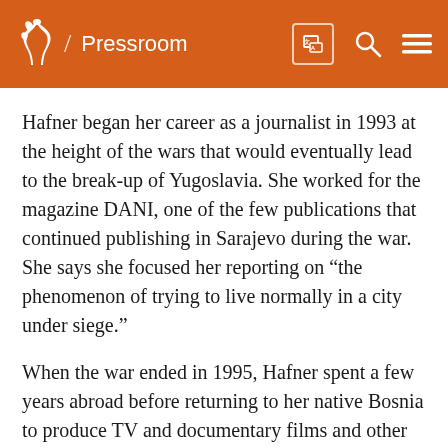/ Pressroom
Hafner began her career as a journalist in 1993 at the height of the wars that would eventually lead to the break-up of Yugoslavia. She worked for the magazine DANI, one of the few publications that continued publishing in Sarajevo during the war. She says she focused her reporting on “the phenomenon of trying to live normally in a city under siege.”
When the war ended in 1995, Hafner spent a few years abroad before returning to her native Bosnia to produce TV and documentary films and other multimedia stories on a variety of topics.
In 2017 she joined RFE/RL’s Balkan Service as a Digital Media Manager, and one of her main focuses has been a counter-extremism project called “Not In